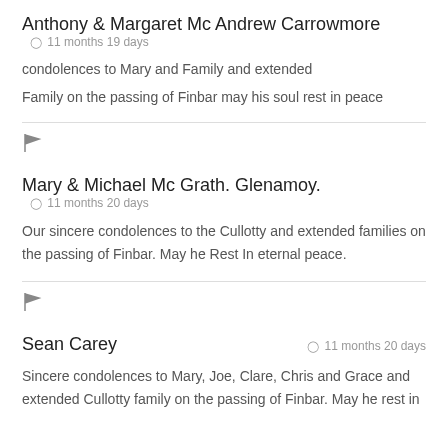Anthony & Margaret Mc Andrew Carrowmore
condolences to Mary and Family and extended ⊙ 11 months 19 days
Family on the passing of Finbar may his soul rest in peace
[Figure (illustration): Flag icon (report/flag button)]
Mary & Michael Mc Grath. Glenamoy.
⊙ 11 months 20 days
Our sincere condolences to the Cullotty and extended families on the passing of Finbar. May he Rest In eternal peace.
[Figure (illustration): Flag icon (report/flag button)]
Sean Carey
⊙ 11 months 20 days
Sincere condolences to Mary, Joe, Clare, Chris and Grace and extended Cullotty family on the passing of Finbar. May he rest in